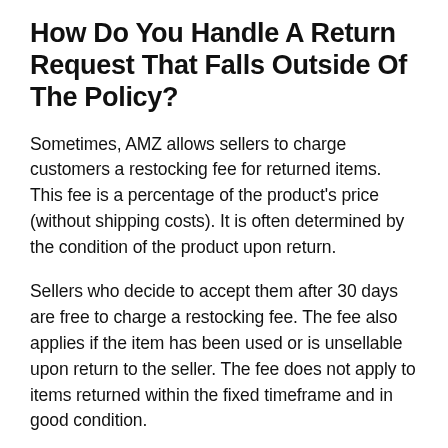How Do You Handle A Return Request That Falls Outside Of The Policy?
Sometimes, AMZ allows sellers to charge customers a restocking fee for returned items. This fee is a percentage of the product's price (without shipping costs). It is often determined by the condition of the product upon return.
Sellers who decide to accept them after 30 days are free to charge a restocking fee. The fee also applies if the item has been used or is unsellable upon return to the seller. The fee does not apply to items returned within the fixed timeframe and in good condition.